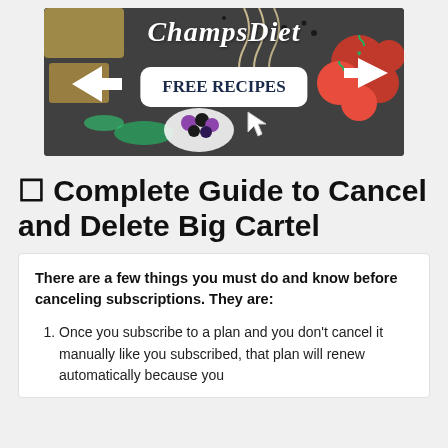[Figure (illustration): ChampsDiet banner advertisement with food photography background (tomatoes, cheese, herbs, pasta, berries) on dark background. White cursive 'ChampsDiet' text at top. White rounded rectangle button with bold dark blue 'FREE RECIPES' text in center. White arrow pointing right on left side and white arrow pointing left on right side. Cursor arrow icon below the button.]
☐ Complete Guide to Cancel and Delete Big Cartel
There are a few things you must do and know before canceling subscriptions. They are:
Once you subscribe to a plan and you don't cancel it manually like you subscribed, that plan will renew automatically because you